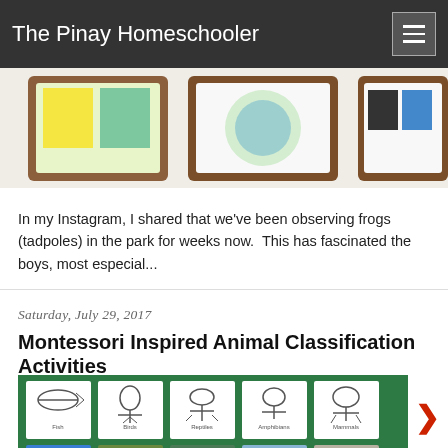The Pinay Homeschooler
[Figure (photo): Framed artwork/cards displayed on a white surface, showing colorful illustrated prints in wooden frames]
In my Instagram, I shared that we've been observing frogs (tadpoles) in the park for weeks now.  This has fascinated the boys, most especial...
Saturday, July 29, 2017
Montessori Inspired Animal Classification Activities
[Figure (photo): A green felt mat with Montessori animal classification cards arranged in columns: Fish, Birds, Reptiles, Amphibians, Mammals — with skeleton/nomenclature cards at top and photo cards below]